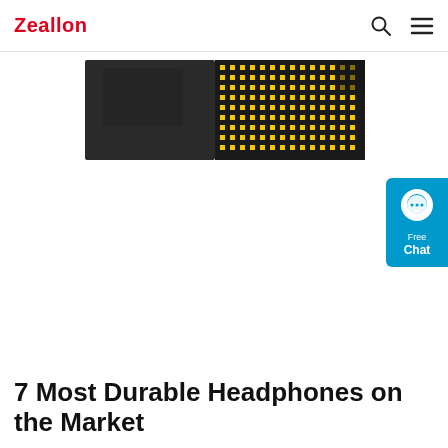Zeallon
[Figure (photo): A black electronic device (speaker or headphone component) with a yellow dot-matrix/perforated grille pattern on the right side, shown from the front.]
[Figure (infographic): Blue chat widget button with speech bubble icon, displaying 'Free Chat' text.]
7 Most Durable Headphones on the Market